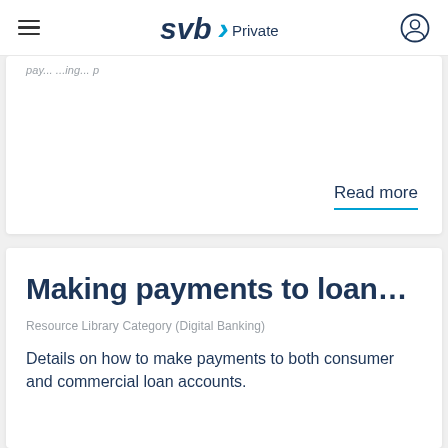svb> Private
Read more
Making payments to loan...
Resource Library Category (Digital Banking)
Details on how to make payments to both consumer and commercial loan accounts.